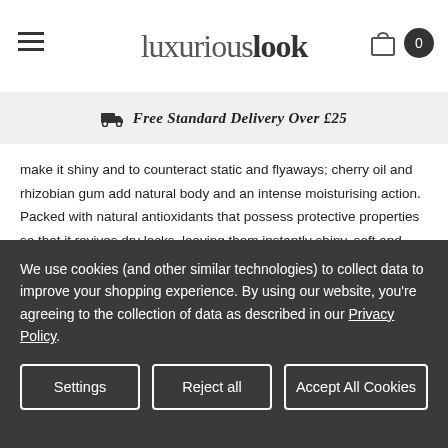luxuriouslook
Free Standard Delivery Over £25
make it shiny and to counteract static and flyaways; cherry oil and rhizobian gum add natural body and an intense moisturising action. Packed with natural antioxidants that possess protective properties so that it revives dry locks, leaving them instantly shiny, soft and restored.
How to use:
Apply a small amount of the Davines NOUNOU Shampoo, evenly, gently massaging into the scalp before rinsing thoroughly. Repeat if required.
We use cookies (and other similar technologies) to collect data to improve your shopping experience. By using our website, you're agreeing to the collection of data as described in our Privacy Policy.